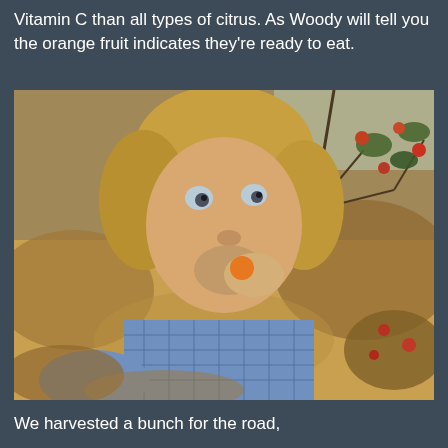Vitamin C than all types of citrus. As Woody will tell you the orange fruit indicates they're ready to eat.
[Figure (photo): A young blonde child in a blue gingham/checkered shirt eating a small orange fruit, standing among brushy shrubs with small red fruits, in an outdoor natural setting with dry golden vegetation.]
We harvested a bunch for the road,
[Figure (photo): Partial view of an outdoor scene with trees and a pale sky, cut off at bottom of page.]